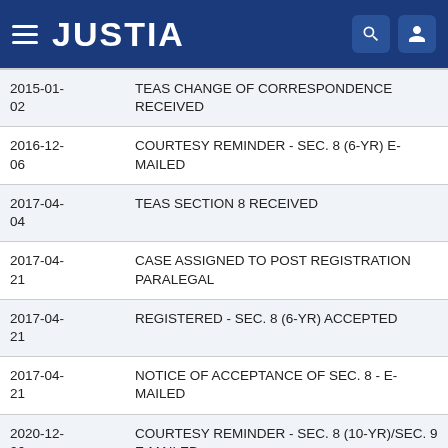JUSTIA
| Date | Event |
| --- | --- |
| 2015-01-02 | TEAS CHANGE OF CORRESPONDENCE RECEIVED |
| 2016-12-06 | COURTESY REMINDER - SEC. 8 (6-YR) E-MAILED |
| 2017-04-04 | TEAS SECTION 8 RECEIVED |
| 2017-04-21 | CASE ASSIGNED TO POST REGISTRATION PARALEGAL |
| 2017-04-21 | REGISTERED - SEC. 8 (6-YR) ACCEPTED |
| 2017-04-21 | NOTICE OF ACCEPTANCE OF SEC. 8 - E-MAILED |
| 2020-12-06 | COURTESY REMINDER - SEC. 8 (10-YR)/SEC. 9 E-MAILED |